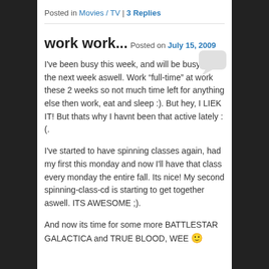Posted in Movies / TV | 3 Replies
work work...
Posted on July 15, 2009
I've been busy this week, and will be busy for the next week aswell. Work “full-time” at work these 2 weeks so not much time left for anything else then work, eat and sleep :). But hey, I LIEK IT! But thats why I havnt been that active lately :(.
I've started to have spinning classes again, had my first this monday and now I'll have that class every monday the entire fall. Its nice! My second spinning-class-cd is starting to get together aswell. ITS AWESOME ;).
And now its time for some more BATTLESTAR GALACTICA and TRUE BLOOD, WEE 🙂